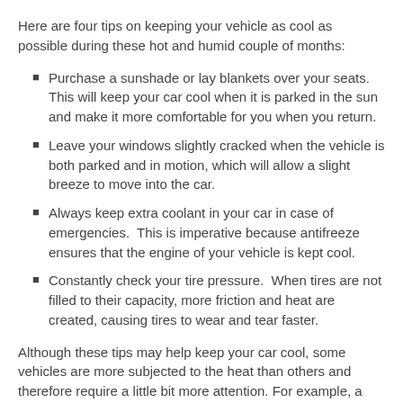Here are four tips on keeping your vehicle as cool as possible during these hot and humid couple of months:
Purchase a sunshade or lay blankets over your seats.  This will keep your car cool when it is parked in the sun and make it more comfortable for you when you return.
Leave your windows slightly cracked when the vehicle is both parked and in motion, which will allow a slight breeze to move into the car.
Always keep extra coolant in your car in case of emergencies.  This is imperative because antifreeze ensures that the engine of your vehicle is kept cool.
Constantly check your tire pressure.  When tires are not filled to their capacity, more friction and heat are created, causing tires to wear and tear faster.
Although these tips may help keep your car cool, some vehicles are more subjected to the heat than others and therefore require a little bit more attention. For example, a black car with black interior will require a significantly